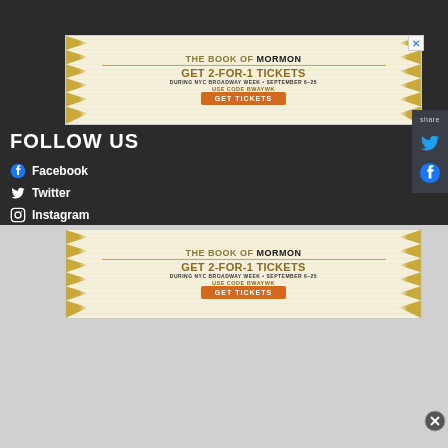[Figure (screenshot): Advertisement banner for The Book of Mormon musical. Text: THE BOOK OF MORMON, GET 2-FOR-1 TICKETS, DURING NYC BROADWAY WEEK • SEPTEMBER 6-25, USE CODE BWAYWK, GET TICKETS button in orange.]
[Figure (screenshot): Share panel on right side with 'share' label, Twitter bird icon in blue, Facebook icon in blue.]
FOLLOW US
Facebook
Twitter
Instagram
[Figure (screenshot): Second advertisement banner for The Book of Mormon musical. Text: THE BOOK OF MORMON, GET 2-FOR-1 TICKETS, DURING NYC BROADWAY WEEK • SEPTEMBER 6-25, USE CODE BWAYWK, GET TICKETS button in orange.]